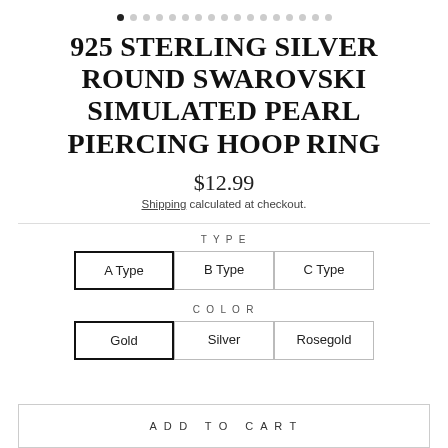[Figure (other): Pagination dots navigation with first dot filled/active and remaining dots grey]
925 STERLING SILVER ROUND SWAROVSKI SIMULATED PEARL PIERCING HOOP RING
$12.99
Shipping calculated at checkout.
TYPE
A Type  B Type  C Type
COLOR
Gold  Silver  Rosegold
ADD TO CART